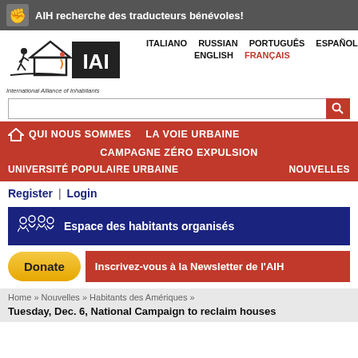AIH recherche des traducteurs bénévoles!
[Figure (logo): International Alliance of Inhabitants logo with stylized figures]
ITALIANO   RUSSIAN   PORTUGUÊS   ESPAÑOL   ENGLISH   FRANÇAIS
[Figure (screenshot): Search input bar with search button]
QUI NOUS SOMMES   LA VOIE URBAINE   CAMPAGNE ZÉRO EXPULSION   UNIVERSITÉ POPULAIRE URBAINE   NOUVELLES
Register | Login
Espace des habitants organisés
Donate   Inscrivez-vous à la Newsletter de l'AIH
Home » Nouvelles » Habitants des Amériques »
Tuesday, Dec. 6, National Campaign to reclaim houses